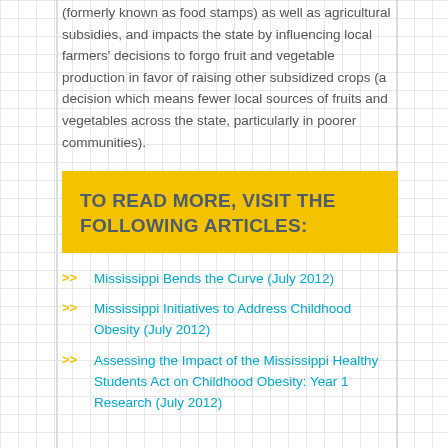(formerly known as food stamps) as well as agricultural subsidies, and impacts the state by influencing local farmers' decisions to forgo fruit and vegetable production in favor of raising other subsidized crops (a decision which means fewer local sources of fruits and vegetables across the state, particularly in poorer communities).
TO READ MORE, VISIT THE FOLLOWING ARTICLES:
Mississippi Bends the Curve (July 2012)
Mississippi Initiatives to Address Childhood Obesity (July 2012)
Assessing the Impact of the Mississippi Healthy Students Act on Childhood Obesity: Year 1 Research (July 2012)